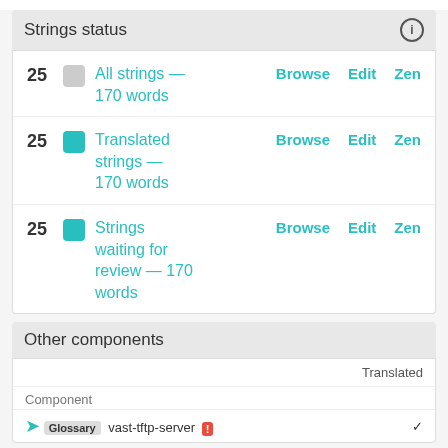Strings status
25  All strings — 170 words  Browse  Edit  Zen
25  Translated strings — 170 words  Browse  Edit  Zen
25  Strings waiting for review — 170 words  Browse  Edit  Zen
Other components
| Component | Translated |
| --- | --- |
| Glossary vast-tftp-server ! | ✓ |